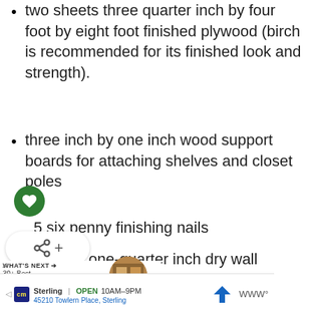two sheets three quarter inch by four foot by eight foot finished plywood (birch is recommended for its finished look and strength).
three inch by one inch wood support boards for attaching shelves and closet poles
six penny finishing nails
two and one-quarter inch dry wall screws
closet pole hangers
closet pole 10 foot long